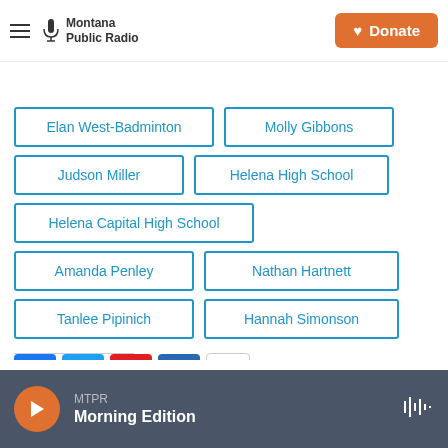Montana Public Radio — Donate
Elan West-Badminton
Molly Gibbons
Judson Miller
Helena High School
Helena Capital High School
Amanda Penley
Nathan Hartnett
Tanlee Pipinich
Hannah Simonson
[Figure (infographic): Social share icons: Facebook, Twitter, Flipboard, LinkedIn, Email]
MTPR Morning Edition — audio player bar